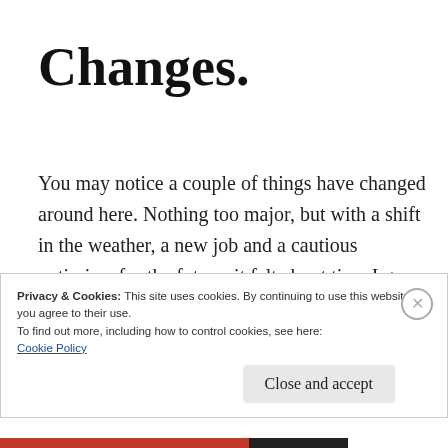Changes.
You may notice a couple of things have changed around here. Nothing too major, but with a shift in the weather, a new job and a cautious optimism for the future, it felt about time I gave this website a bit of an upgrade.
Privacy & Cookies: This site uses cookies. By continuing to use this website, you agree to their use.
To find out more, including how to control cookies, see here:
Cookie Policy
Close and accept